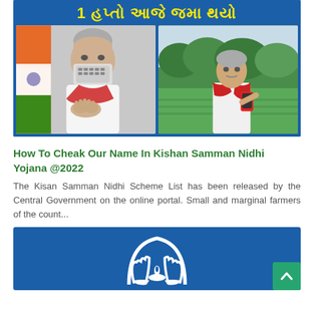[Figure (infographic): Blue banner with Gujarati text in yellow reading '1 હપ્તો આજે જમા થયો', with two photos: left showing a man with folded hands and a face-covering, right showing a farmer in a field using a phone]
How To Cheak Our Name In Kishan Samman Nidhi Yojana @2022
The Kisan Samman Nidhi Scheme List has been released by the Central Government on the online portal. Small and marginal farmers of the count...
[Figure (logo): Dark blue card with a white icon of two hands holding a diya lamp under an arch, representing a government welfare scheme logo]